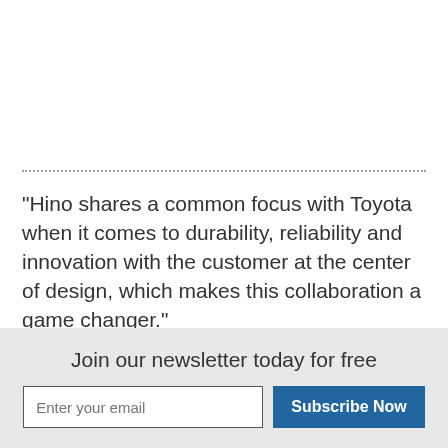"Hino shares a common focus with Toyota when it comes to durability, reliability and innovation with the customer at the center of design, which makes this collaboration a game changer."
For more information about Hino Trucks, visit www.hino.com.
For more information about Toyota, visit
Join our newsletter today for free